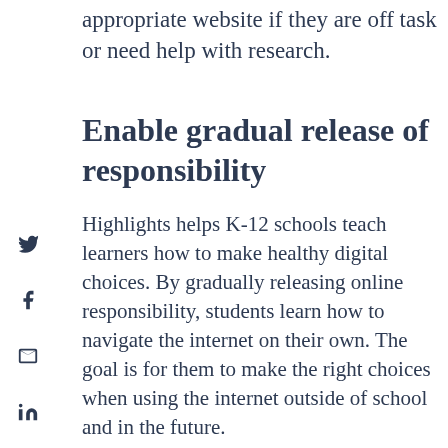use this feature to send students a more appropriate website if they are off task or need help with research.
Enable gradual release of responsibility
Highlights helps K-12 schools teach learners how to make healthy digital choices. By gradually releasing online responsibility, students learn how to navigate the internet on their own. The goal is for them to make the right choices when using the internet outside of school and in the future.
For example, at the beginning of the